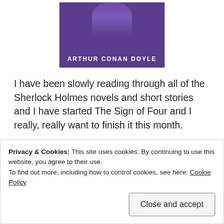[Figure (illustration): Book cover image showing a figure in purple/dark background with text 'ARTHUR CONAN DOYLE' at the bottom]
I have been slowly reading through all of the Sherlock Holmes novels and short stories and I have started The Sign of Four and I really, really want to finish it this month.
A dense yellow miasma swirls in the streets of London as Sherlock Holmes and Dr Watson accompany a
Privacy & Cookies: This site uses cookies. By continuing to use this website, you agree to their use.
To find out more, including how to control cookies, see here: Cookie Policy
Close and accept